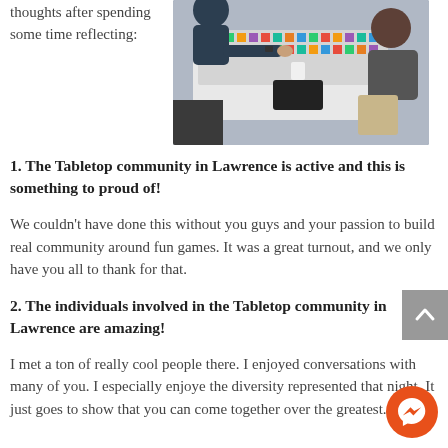thoughts after spending some time reflecting:
[Figure (photo): Two people sitting at a table with a colorful board game spread out, one person gesturing over the board.]
1. The Tabletop community in Lawrence is active and this is something to proud of!
We couldn't have done this without you guys and your passion to build real community around fun games. It was a great turnout, and we only have you all to thank for that.
2. The individuals involved in the Tabletop community in Lawrence are amazing!
I met a ton of really cool people there. I enjoyed conversations with many of you. I especially enjoyed the diversity represented that night. It just goes to show that you can come together over the greatest...